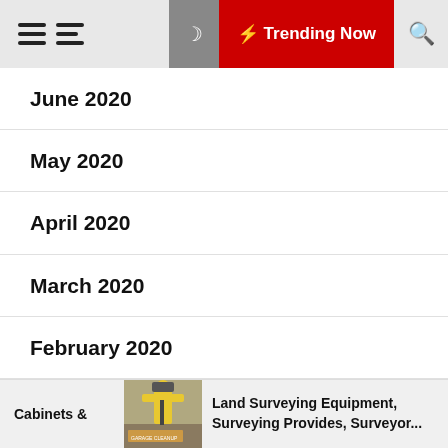Trending Now
June 2020
May 2020
April 2020
March 2020
February 2020
January 2020
December 2019
Cabinets & | Land Surveying Equipment, Surveying Provides, Surveyor...